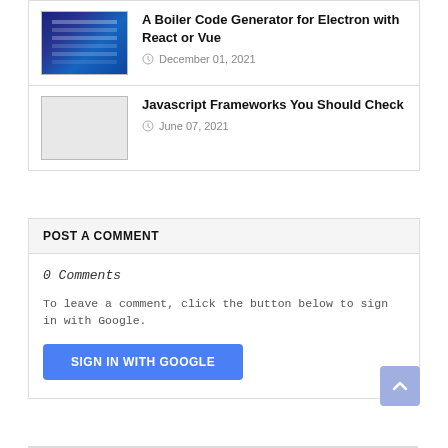A Boiler Code Generator for Electron with React or Vue
December 01, 2021
Javascript Frameworks You Should Check
June 07, 2021
POST A COMMENT
0 Comments
To leave a comment, click the button below to sign in with Google.
SIGN IN WITH GOOGLE